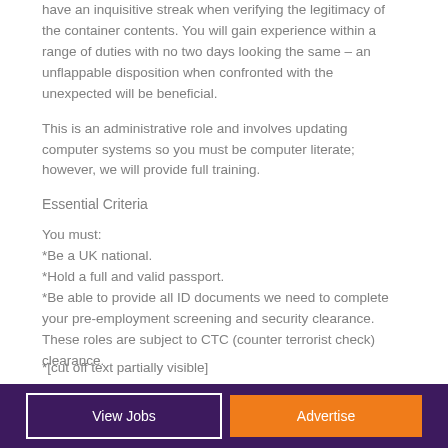have an inquisitive streak when verifying the legitimacy of the container contents. You will gain experience within a range of duties with no two days looking the same – an unflappable disposition when confronted with the unexpected will be beneficial.
This is an administrative role and involves updating computer systems so you must be computer literate; however, we will provide full training.
Essential Criteria
You must:
*Be a UK national.
*Hold a full and valid passport.
*Be able to provide all ID documents we need to complete your pre-employment screening and security clearance. These roles are subject to CTC (counter terrorist check) clearance.
*[partially visible/cut off]
View Jobs   Advertise